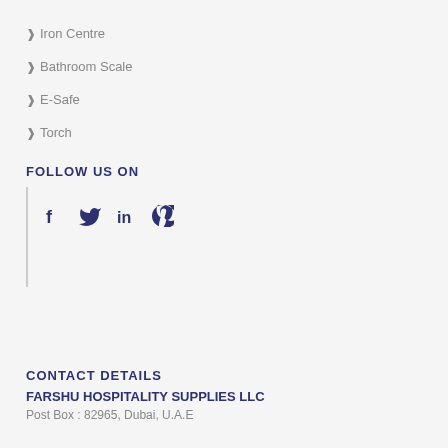Iron Centre
Bathroom Scale
E-Safe
Torch
FOLLOW US ON
[Figure (other): Social media icons: Facebook, Twitter, LinkedIn, Pinterest]
CONTACT DETAILS
FARSHU HOSPITALITY SUPPLIES LLC
Post Box : 82965, Dubai, U.A.E